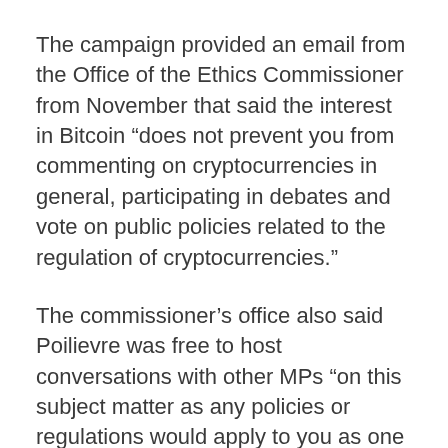The campaign provided an email from the Office of the Ethics Commissioner from November that said the interest in Bitcoin “does not prevent you from commenting on cryptocurrencies in general, participating in debates and vote on public policies related to the regulation of cryptocurrencies.”
The commissioner’s office also said Poilievre was free to host conversations with other MPs “on this subject matter as any policies or regulations would apply to you as one of a broad class.”
Poilievre has proposed barring the Bank of Canada from developing its own digital currency and said Canadians should be free to use